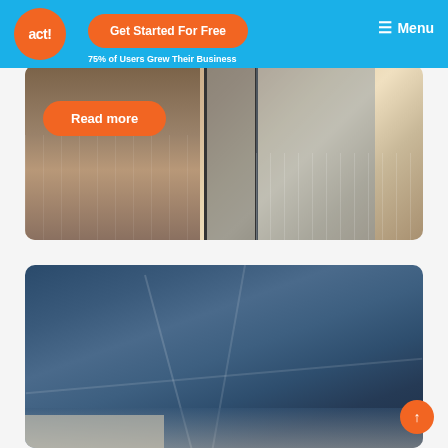act! | Get Started For Free | 75% of Users Grew Their Business | Menu
[Figure (photo): Interior photo showing glass sliding doors with tile flooring, overlaid with an orange 'Read more' button]
[Figure (photo): Dark blue abstract architectural or ceiling photo with geometric lines]